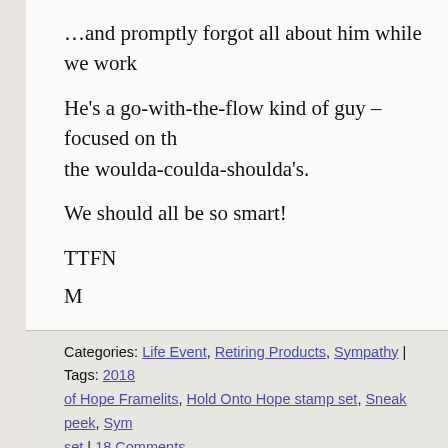…and promptly forgot all about him while we work
He's a go-with-the-flow kind of guy – focused on the woulda-coulda-shoulda's.
We should all be so smart!
TTFN
M
Categories: Life Event, Retiring Products, Sympathy | Tags: 2018 of Hope Framelits, Hold Onto Hope stamp set, Sneak peek, Sym set | 18 Comments
Stampin' Up! Tutti-Frutti Fruit Basket Sneak Pe
Posted on December 29, 2017 by stampsnlingers
Know what today is??  This is the very last time I'l